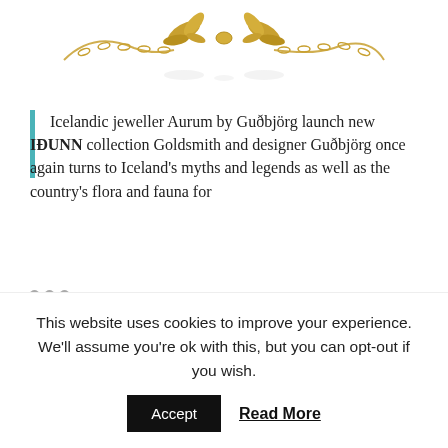[Figure (photo): Gold necklace with leaf/feather decorative centerpiece on white background]
Icelandic jeweller Aurum by Guðbjörg launch new IÐUNN collection Goldsmith and designer Guðbjörg once again turns to Iceland's myths and legends as well as the country's flora and fauna for
• • •
💬 0   Share  🐦  📌  f
This website uses cookies to improve your experience. We'll assume you're ok with this, but you can opt-out if you wish.
Accept   Read More